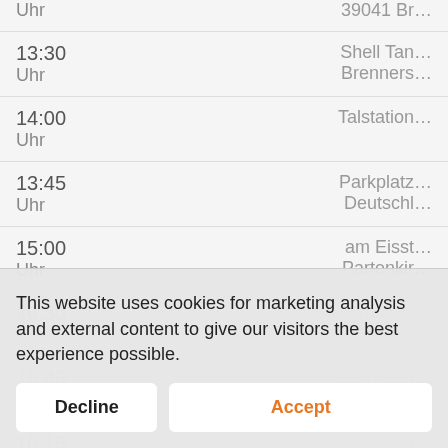| Time | Location |
| --- | --- |
| Uhr | 39041 Br… |
| 13:30
Uhr | Shell Tan…
Brenners… |
| 14:00
Uhr | Talstation… |
| 13:45
Uhr | Parkplatz…
Deutschl… |
| 15:00
Uhr | am Eisst…
Partenki… |
| 16:30
Uhr | Arnulfstr…
Deutschl… |
| 15:45
Uhr | Garmisch…
Österreic… |
| 16:15 | Kempten… |
This website uses cookies for marketing analysis and external content to give our visitors the best experience possible.